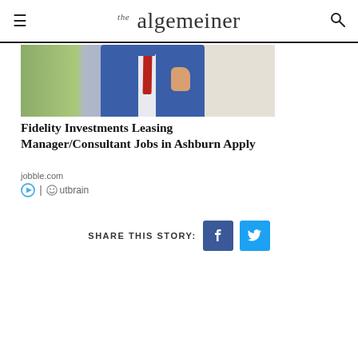the algemeiner
[Figure (photo): Man in blue suit with red tie giving thumbs up outdoors near white wall]
Fidelity Investments Leasing Manager/Consultant Jobs in Ashburn Apply
jobble.com
[Figure (logo): Outbrain logo with play icon]
SHARE THIS STORY: